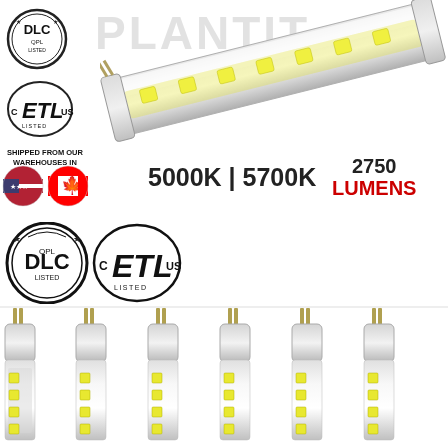[Figure (photo): LED T8 fluorescent tube replacement light with clear lens showing LED chips, angled view from end showing bi-pin connector]
[Figure (logo): DLC QPL Listed certification badge]
[Figure (logo): ETL C ETL US Listed certification badge]
SHIPPED FROM OUR WAREHOUSES IN
[Figure (illustration): US flag and Canadian flag icons]
5000K | 5700K
2750 LUMENS
[Figure (logo): DLC QPL Listed large certification badge]
[Figure (logo): ETL C ETL US Listed large certification badge]
[Figure (photo): Six LED T8 tube lights arranged in a row showing bi-pin ends and LED chips through clear lens]